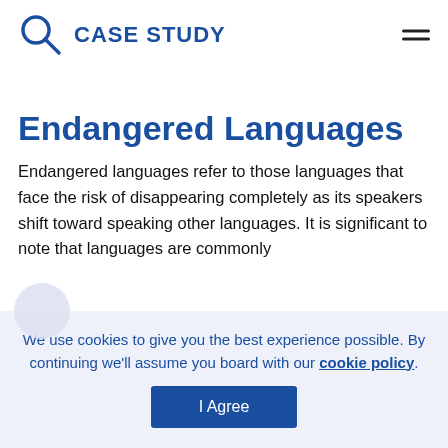CASE STUDY
Endangered Languages
Endangered languages refer to those languages that face the risk of disappearing completely as its speakers shift toward speaking other languages. It is significant to note that languages are commonly...
We use cookies to give you the best experience possible. By continuing we'll assume you board with our cookie policy.
I Agree